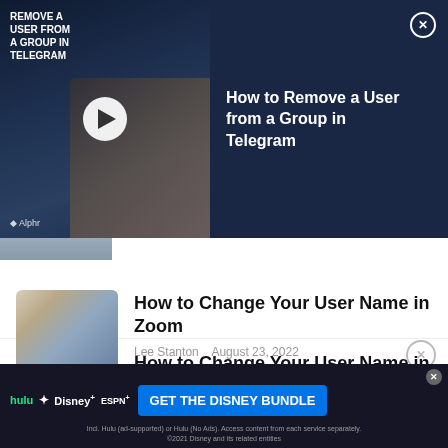[Figure (screenshot): Video overlay popup showing 'How to Remove a User from a Group in Telegram' with thumbnail, play button, title, and close button on dark navy background]
How to Remove a User from a Group in Telegram
[Figure (photo): Partially visible article thumbnail showing laptop with person typing]
Steve Larner   July 27, 2022
[Figure (photo): Person working at desk with video conference on screen]
How to Change Your User Name in Zoom
Lee Stanton   August 23, 2022
[Figure (photo): Woman looking down at laptop, working]
How to Use Inspect Element
Lee Stanton   August 16, 2022
[Figure (screenshot): Advertisement banner for Disney Bundle (Hulu, Disney+, ESPN+) with blue CTA button GET THE DISNEY BUNDLE]